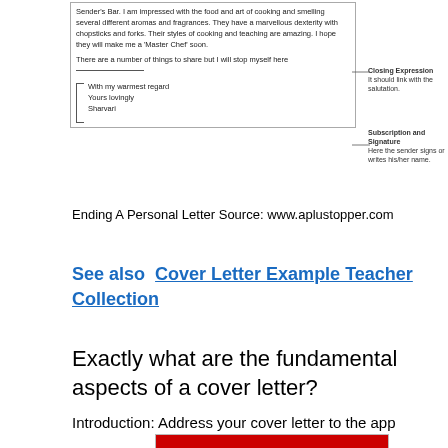[Figure (illustration): Excerpt of a personal letter showing closing expression and subscription/signature sections, with annotation arrows pointing to 'Closing Expression' and 'Subscription and Signature' labels.]
Ending A Personal Letter Source: www.aplustopper.com
See also  Cover Letter Example Teacher Collection
Exactly what are the fundamental aspects of a cover letter?
Introduction: Address your cover letter to the app
[Figure (other): BitLife advertisement banner with red background showing 'BitLife' logo and 'Murder Do it!' text on a blue button.]
Opening: Write a personalized, inviting opening paragraph that notes just how your abilities are